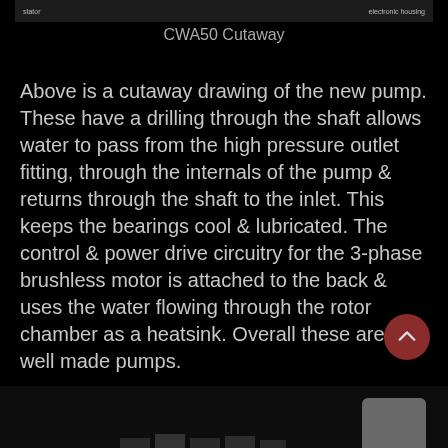[Figure (photo): Top portion of a cutaway diagram image showing labels for 'stator' on the left and 'electronic housing' on the right, cropped from the CWA50 pump cutaway drawing.]
CWA50 Cutaway
Above is a cutaway drawing of the new pump. These have a drilling through the shaft allows water to pass from the high pressure outlet fitting, through the internals of the pump & returns through the shaft to the inlet. This keeps the bearings cool & lubricated. The control & power drive circuitry for the 3-phase brushless motor is attached to the back & uses the water flowing through the rotor chamber as a heatsink. Overall these are very well made pumps.
[Figure (photo): Bottom portion of the page showing a dark photographic image of pump components, partially visible at the bottom of the screen.]